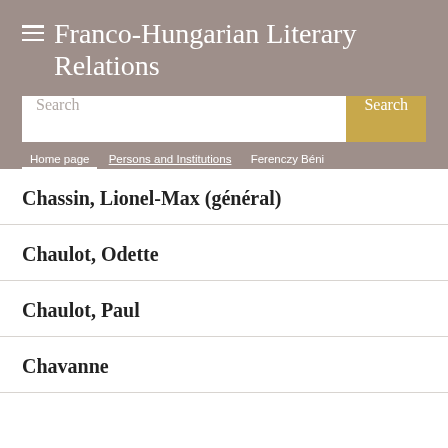Franco-Hungarian Literary Relations
Search
Home page > Persons and Institutions > Ferenczy Béni
Chassin, Lionel-Max (général)
Chaulot, Odette
Chaulot, Paul
Chavanne